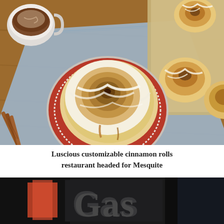[Figure (photo): A close-up food photo showing a large glazed cinnamon roll on a decorative red plate with white filigree border, placed on a blue cloth napkin on a wooden table. A white mug of hot chocolate is in the upper left. Cinnamon sticks are visible on the lower left. In the background, a baking tray with additional cinnamon rolls drizzled with icing.]
Luscious customizable cinnamon rolls restaurant headed for Mesquite
[Figure (photo): Partial view of a storefront or sign reading 'Gas' in large stylized lettering against a dark background.]